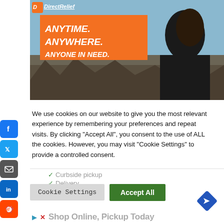[Figure (photo): DirectRelief charity advertisement with orange banner reading ANYTIME. ANYWHERE. ANYONE IN NEED. with a woman in black jacket viewed from behind over rubble background.]
[Figure (infographic): Social media share buttons sidebar: Facebook (blue), Twitter (blue), Email (gray), LinkedIn (blue), Reddit (orange-red)]
We use cookies on our website to give you the most relevant experience by remembering your preferences and repeat visits. By clicking "Accept All", you consent to the use of ALL the cookies. However, you may visit "Cookie Settings" to provide a controlled consent.
Cookie Settings
Accept All
[Figure (screenshot): Bottom advertisement section showing Curbside pickup and Delivery checkmarks, a small brand logo, a blue diamond map direction icon, play and X icons, and text reading Shop Online, Pickup Today]